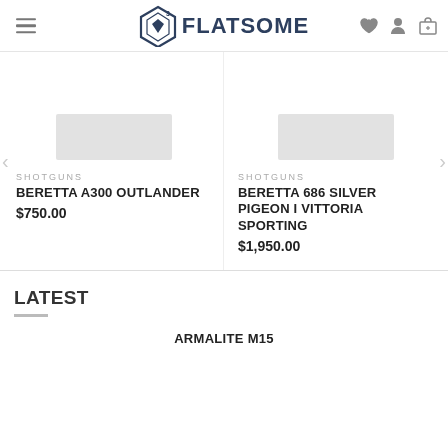[Figure (logo): Flatsome logo with diamond icon and text FLATSOME, plus hamburger menu, heart, user, and cart icons]
[Figure (photo): Product image placeholder for Beretta A300 Outlander]
SHOTGUNS
BERETTA A300 OUTLANDER
$750.00
[Figure (photo): Product image placeholder for Beretta 686 Silver Pigeon I Vittoria Sporting]
SHOTGUNS
BERETTA 686 SILVER PIGEON I VITTORIA SPORTING
$1,950.00
LATEST
ARMALITE M15